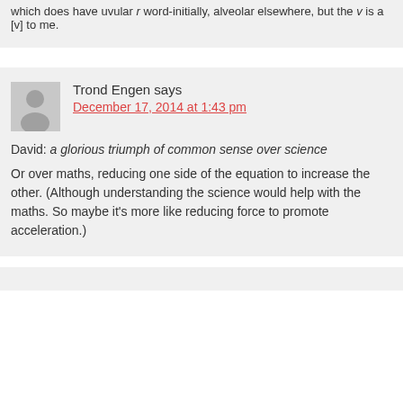which does have uvular r word-initially, alveolar elsewhere, but the v is a [v] to me.
Trond Engen says
December 17, 2014 at 1:43 pm
David: a glorious triumph of common sense over science

Or over maths, reducing one side of the equation to increase the other. (Although understanding the science would help with the maths. So maybe it's more like reducing force to promote acceleration.)